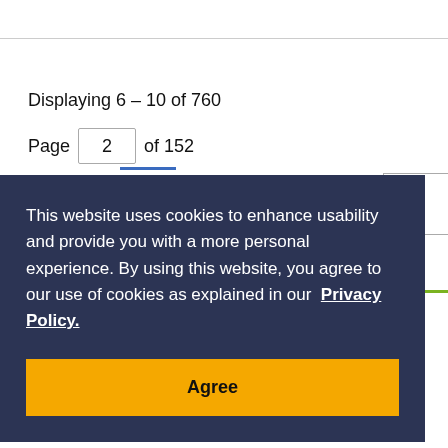Displaying 6 - 10 of 760
Page 2 of 152
This website uses cookies to enhance usability and provide you with a more personal experience. By using this website, you agree to our use of cookies as explained in our Privacy Policy.
Agree